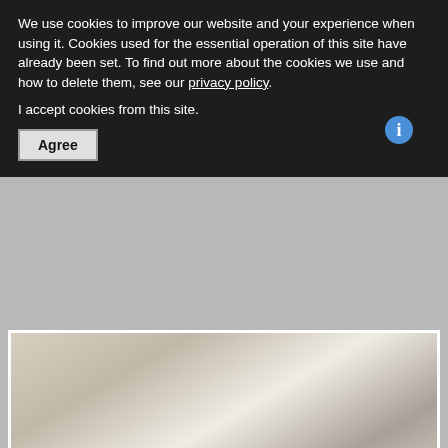We use cookies to improve our website and your experience when using it. Cookies used for the essential operation of this site have already been set. To find out more about the cookies we use and how to delete them, see our privacy policy.
I accept cookies from this site.
Agree
[Figure (photo): Photograph of a bathroom interior showing a bathtub on the left, a toilet in the center, and another bathtub/sink on the right. White tiled walls with decorative border tiles. Various toiletry items visible.]
[Figure (photo): Photograph of a bedroom or hallway interior with light blue walls. A framed picture/artwork hangs on the wall, alongside a wooden shelving unit with smaller framed photos.]